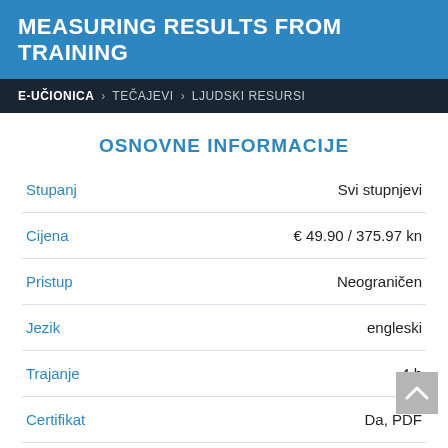MEASURING RESULTS FROM TRAINING
E-UČIONICA > TEČAJEVI > LJUDSKI RESURSI
OSNOVNE INFORMACIJE
|  |  |
| --- | --- |
| Stupanj | Svi stupnjevi |
| Cijena | € 49.90 / 375.97 kn |
| Pristup | Neograničen |
| Jezik | engleski |
| Trajanje | 4 h |
| Certifikat | Da, PDF |